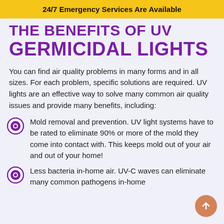24/7 Emergency Services Are Available
THE BENEFITS OF UV GERMICIDAL LIGHTS
You can find air quality problems in many forms and in all sizes. For each problem, specific solutions are required. UV lights are an effective way to solve many common air quality issues and provide many benefits, including:
Mold removal and prevention. UV light systems have to be rated to eliminate 90% or more of the mold they come into contact with. This keeps mold out of your air and out of your home!
Less bacteria in-home air. UV-C waves can eliminate many common pathogens in-home